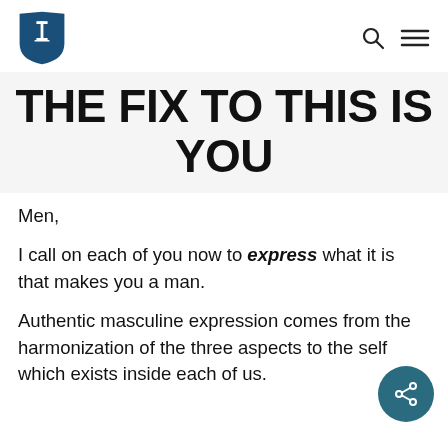THE FIX TO THIS IS YOU — site header with logo and navigation icons
THE FIX TO THIS IS YOU
Men,
I call on each of you now to express what it is that makes you a man.
Authentic masculine expression comes from the harmonization of the three aspects to the self which exists inside each of us.